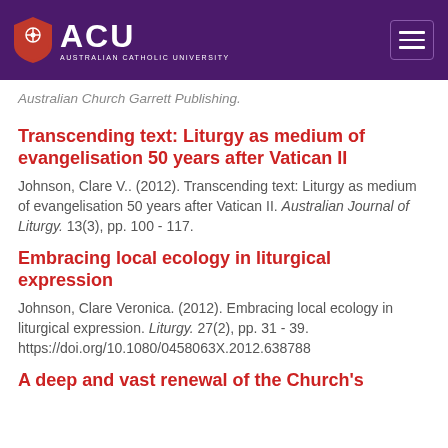ACU Australian Catholic University
Australian Church Garrett Publishing.
Transcending text: Liturgy as medium of evangelisation 50 years after Vatican II
Johnson, Clare V.. (2012). Transcending text: Liturgy as medium of evangelisation 50 years after Vatican II. Australian Journal of Liturgy. 13(3), pp. 100 - 117.
Embracing local ecology in liturgical expression
Johnson, Clare Veronica. (2012). Embracing local ecology in liturgical expression. Liturgy. 27(2), pp. 31 - 39. https://doi.org/10.1080/0458063X.2012.638788
A deep and vast renewal of the Church's